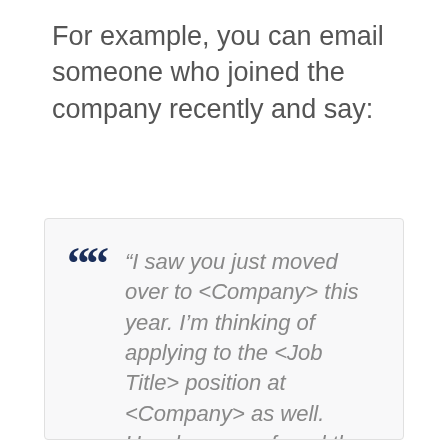For example, you can email someone who joined the company recently and say:
“I saw you just moved over to <Company> this year. I’m thinking of applying to the <Job Title> position at <Company> as well. How have you found the work environment since joining? I’ve read a number of positive reviews on Glassdoor